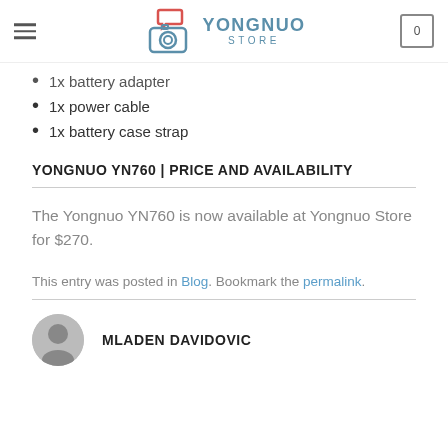YONGNUO STORE
1x battery adapter
1x power cable
1x battery case strap
YONGNUO YN760 | PRICE AND AVAILABILITY
The Yongnuo YN760 is now available at Yongnuo Store for $270.
This entry was posted in Blog. Bookmark the permalink.
MLADEN DAVIDOVIC